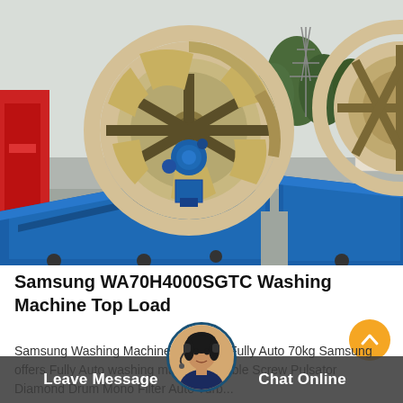[Figure (photo): Large industrial sand washing machine with two blue metal troughs and a large beige/tan wheel mechanism in the center, photographed outdoors with trees and industrial buildings in the background. A red machine is partially visible on the left.]
Samsung WA70H4000SGTC Washing Machine Top Load
Samsung Washing Machine Top Load Fully Auto 70kg Samsung offers Fully Auto washing machine Double Screw Pulsator Diamond Drum Mono Filter Auto Turb...
[Figure (photo): Customer service avatar - woman with headset]
Leave Message    Chat Online